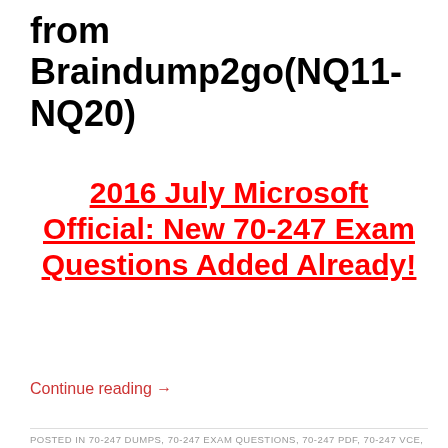from Braindump2go(NQ11-NQ20)
2016 July Microsoft Official: New 70-247 Exam Questions Added Already!
Continue reading →
POSTED IN 70-247 DUMPS, 70-247 EXAM QUESTIONS, 70-247 PDF, 70-247 VCE, MICROSOFT EXAM | TAGGED 70-247 BRAINDUMP, 70-247 DUMPS, 70-247 EXAM QUESTIONS, 70-247 PDF, 70-247 PRACTICE EXAM, 70-247 PRACTICE TEST, 70-247 STUDY GUIDE, 70-247 VCE, BRAINDUMP2GO /